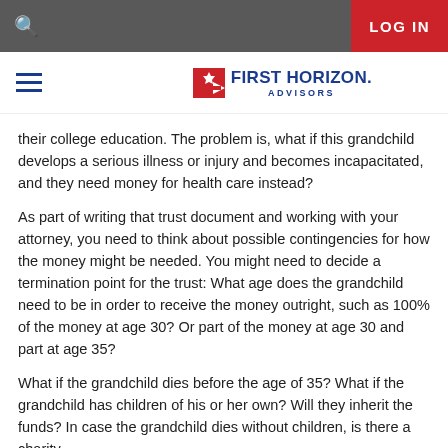LOG IN
[Figure (logo): First Horizon Advisors logo with hamburger menu icon]
their college education. The problem is, what if this grandchild develops a serious illness or injury and becomes incapacitated, and they need money for health care instead?
As part of writing that trust document and working with your attorney, you need to think about possible contingencies for how the money might be needed. You might need to decide a termination point for the trust: What age does the grandchild need to be in order to receive the money outright, such as 100% of the money at age 30? Or part of the money at age 30 and part at age 35?
What if the grandchild dies before the age of 35? What if the grandchild has children of his or her own? Will they inherit the funds? In case the grandchild dies without children, is there a charity